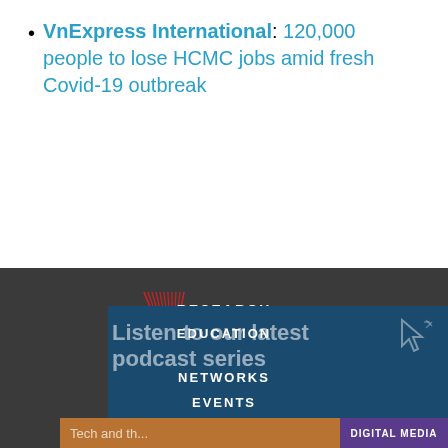VnExpress International: 120,000 people to lose HCMC jobs amid fresh Covid-19 outbreak
[Figure (logo): Asia Pacific Foundation of Canada logo — red geometric triangular/arrow shape with text 'ASIA PACIFIC FOUNDATION OF CANADA' to the right, on dark background]
RESEARCH
EDUCATION
NETWORKS
EVENTS
Listen to our latest podcast series
DIGITAL MEDIA
Tech and th...